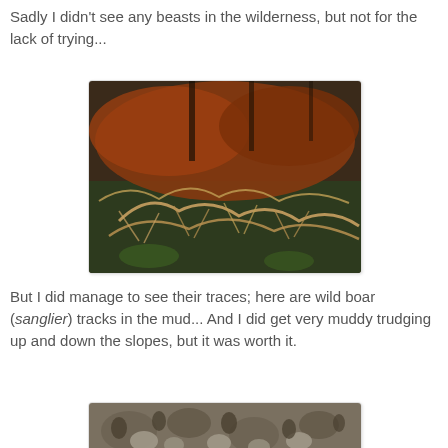Sadly I didn't see any beasts in the wilderness, but not for the lack of trying...
[Figure (photo): Close-up photograph of brown dried ferns in a forest setting, with reddish-brown fronds and some green vegetation visible in the background.]
But I did manage to see their traces; here are wild boar (sanglier) tracks in the mud... And I did get very muddy trudging up and down the slopes, but it was worth it.
[Figure (photo): Partial view of muddy wild boar tracks in mud, with stones visible.]